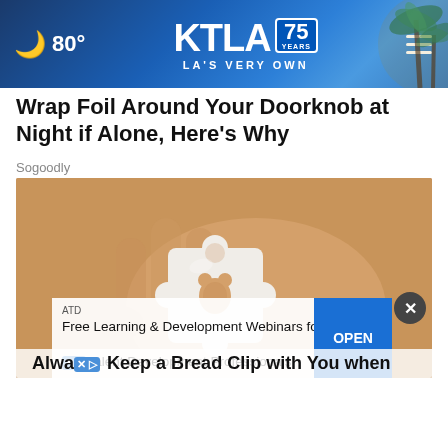KTLA 75 YEARS — LA'S VERY OWN | 80°
Wrap Foil Around Your Doorknob at Night if Alone, Here's Why
Sogoodly
[Figure (photo): A hand holding a small white puzzle-piece-shaped plastic or rubber object, photographed close-up against a skin-tone background.]
ATD
Free Learning & Development Webinars for Talent Development Professionals
Always Keep a Bread Clip with You when